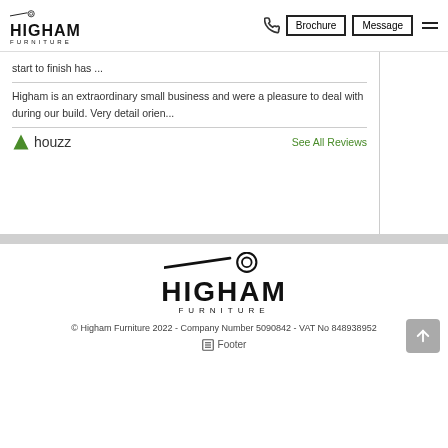HIGHAM FURNITURE — Brochure | Message | Navigation
start to finish has ...
Higham is an extraordinary small business and were a pleasure to deal with during our build. Very detail orien...
houzz — See All Reviews
[Figure (logo): Higham Furniture logo large centered in footer area]
© Higham Furniture 2022 - Company Number 5090842 - VAT No 848938952
Footer